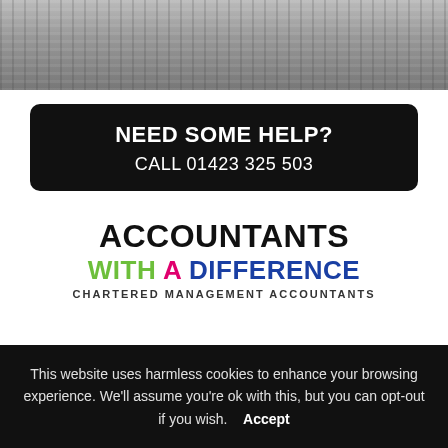[Figure (photo): Black and white photo of a person at a keyboard/desk, cropped to show partial upper body with striped clothing]
NEED SOME HELP?
CALL 01423 325 503
[Figure (logo): Accountants With A Difference - Chartered Management Accountants logo. 'ACCOUNTANTS' in black bold, 'WITH' in green, 'A' in pink/magenta, 'DIFFERENCE' in dark blue, 'CHARTERED MANAGEMENT ACCOUNTANTS' in dark gray below]
This website uses harmless cookies to enhance your browsing experience. We'll assume you're ok with this, but you can opt-out if you wish.    Accept